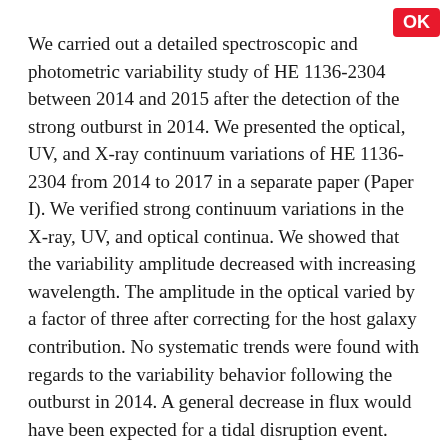We carried out a detailed spectroscopic and photometric variability study of HE 1136-2304 between 2014 and 2015 after the detection of the strong outburst in 2014. We presented the optical, UV, and X-ray continuum variations of HE 1136-2304 from 2014 to 2017 in a separate paper (Paper I). We verified strong continuum variations in the X-ray, UV, and optical continua. We showed that the variability amplitude decreased with increasing wavelength. The amplitude in the optical varied by a factor of three after correcting for the host galaxy contribution. No systematic trends were found with regards to the variability behavior following the outburst in 2014. A general decrease in flux would have been expected for a tidal disruption event. The Seyfert type did not change between 2014 and 2017 despite strong continuum variations. We describe the results of the spectroscopic variability campaign taken with the 10